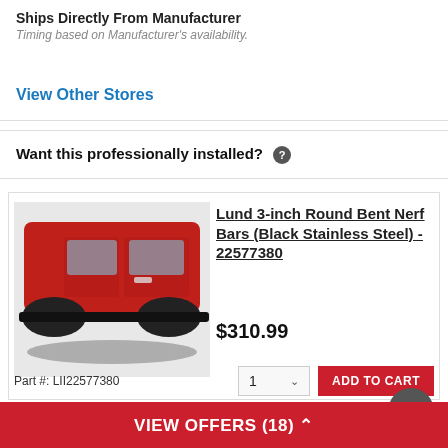Ships Directly From Manufacturer
Timing based on Manufacturer's availability.
View Other Stores
Want this professionally installed? ?
[Figure (photo): Red truck/SUV with black nerf bar step running board installed on side]
Lund 3-inch Round Bent Nerf Bars (Black Stainless Steel) - 22577380
$310.99
Part #: LII22577380
[Figure (logo): Lund logo in blue italic lettering]
VIEW OFFERS (18) ^